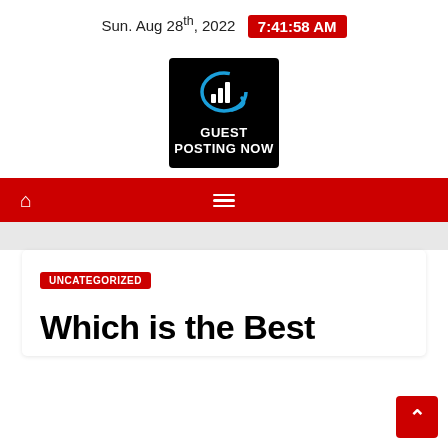Sun. Aug 28th, 2022  7:41:58 AM
[Figure (logo): Guest Posting Now logo — black square with blue bar chart icon and circular swoosh, white text reading GUEST POSTING NOW]
Navigation bar with home icon and hamburger menu
UNCATEGORIZED
Which is the Best